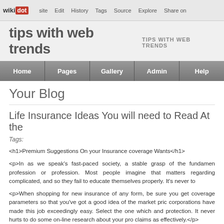wiki dot | Edit | History | Tags | Source | Explore | Share on
tips with web trends   TIPS WITH WEB TRENDS
Home | Pages | Gallery | Admin | Help
Your Blog
Life Insurance Ideas You will need to Read At the
Tags:
<h1>Premium Suggestions On your Insurance coverage Wants</h1>
<p>In as we speak's fast-paced society, a stable grasp of the fundamen profession or profession. Most people imagine that matters regarding complicated, and so they fail to educate themselves properly. It's never to
<p>When shopping for new insurance of any form, be sure you get coverage parameters so that you've got a good idea of the market pric corporations have made this job exceedingly easy. Select the one which and protection. It never hurts to do some on-line research about your pro claims as effectively.</p>